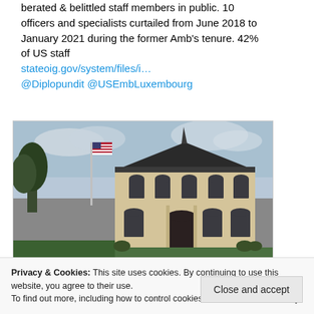berated & belittled staff members in public. 10 officers and specialists curtailed from June 2018 to January 2021 during the former Amb's tenure. 42% of US staff stateoig.gov/system/files/i… @Diplopundit @USEmbLuxembourg
[Figure (photo): Photograph of the US Embassy in Luxembourg, a large stone building with dark roof and spire, American flag on flagpole, surrounded by trees and lawn.]
Privacy & Cookies: This site uses cookies. By continuing to use this website, you agree to their use. To find out more, including how to control cookies, see here: Cookie Policy